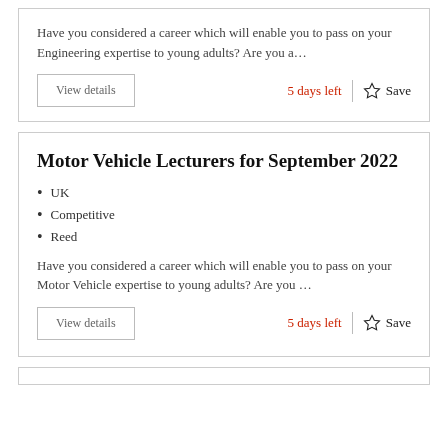Have you considered a career which will enable you to pass on your Engineering expertise to young adults? Are you a…
5 days left
Save
Motor Vehicle Lecturers for September 2022
UK
Competitive
Reed
Have you considered a career which will enable you to pass on your Motor Vehicle expertise to young adults? Are you …
5 days left
Save